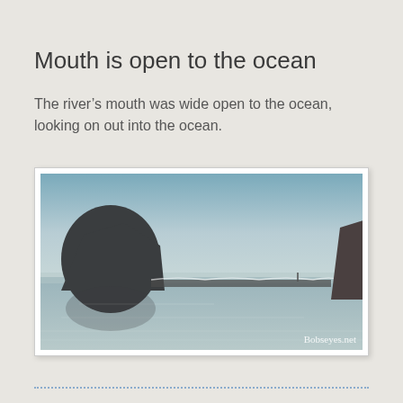Mouth is open to the ocean
The river's mouth was wide open to the ocean, looking on out into the ocean.
[Figure (photo): Panoramic coastal photograph showing a river mouth open to the ocean, with a large rock formation silhouetted on the left, cliffs on the right, a jetty or sandbar in the middle distance, calm water in the foreground, and a clear sky above. Watermark reads 'Bobseyes.net'.]